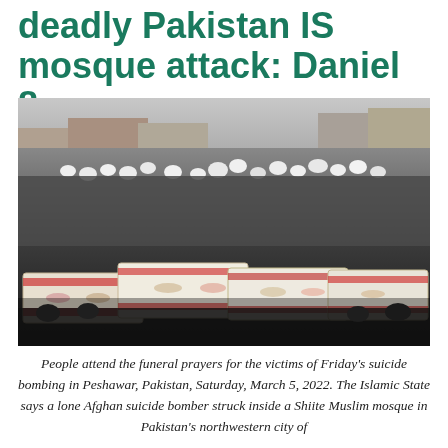deadly Pakistan IS mosque attack: Daniel 8
[Figure (photo): Crowd of people attending funeral prayers for victims of the Peshawar mosque bombing. Multiple coffins draped in white cloth with red embroidery are visible in the foreground, surrounded by a dense crowd of mourners, many wearing white turbans and dark clothing, on a street in Peshawar, Pakistan.]
People attend the funeral prayers for the victims of Friday's suicide bombing in Peshawar, Pakistan, Saturday, March 5, 2022. The Islamic State says a lone Afghan suicide bomber struck inside a Shiite Muslim mosque in Pakistan's northwestern city of